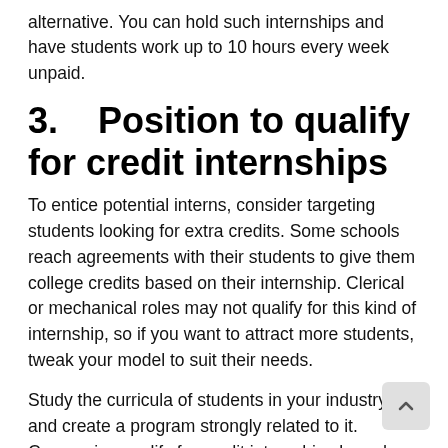alternative. You can hold such internships and have students work up to 10 hours every week unpaid.
3.    Position to qualify for credit internships
To entice potential interns, consider targeting students looking for extra credits. Some schools reach agreements with their students to give them college credits based on their internship. Clerical or mechanical roles may not qualify for this kind of internship, so if you want to attract more students, tweak your model to suit their needs.
Study the curricula of students in your industry and create a program strongly related to it. Companies qualify for credit internships based on how related their programs are to students’ academic disciplines. The schools often task their students to defend what they learned during their training, write an intern essay, fill a logbook, etc. When you want to the concept of credit internships...